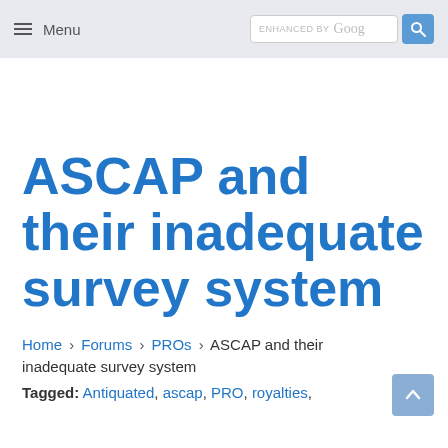≡ Menu  ENHANCED BY Goog 🔍
ASCAP and their inadequate survey system
Home › Forums › PROs › ASCAP and their inadequate survey system
Tagged: Antiquated, ascap, PRO, royalties,